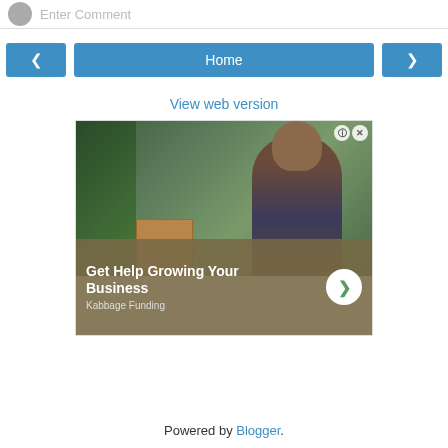[Figure (screenshot): Comment input bar with user avatar and 'Enter Comment' placeholder text]
[Figure (screenshot): Navigation row with left arrow button, Home button, and right arrow button]
View web version
[Figure (photo): Advertisement showing a man with curly hair and beard in a plaid shirt looking at a tablet, surrounded by plants. Text overlay reads 'Get Help Growing Your Business' with a right-arrow CTA button and 'Kabbage Funding' branding. Info (i) and X icons in top right corner.]
Powered by Blogger.